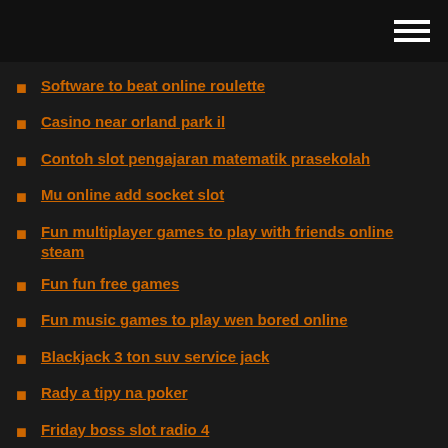Software to beat online roulette
Casino near orland park il
Contoh slot pengajaran matematik prasekolah
Mu online add socket slot
Fun multiplayer games to play with friends online steam
Fun fun free games
Fun music games to play wen bored online
Blackjack 3 ton suv service jack
Rady a tipy na poker
Friday boss slot radio 4
Make money online casino affiliate
In poker does flush beat full house
In gambling what does spread mean